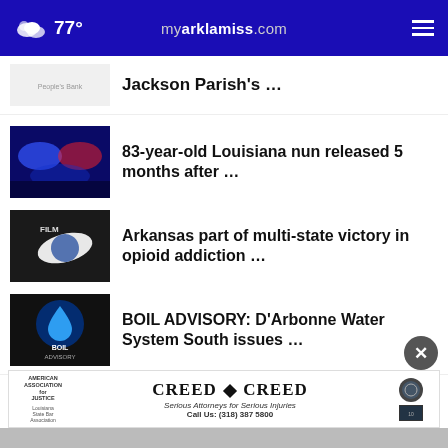77° myarklamiss.com
Jackson Parish's …
83-year-old Louisiana nun released 5 months after …
Arkansas part of multi-state victory in opioid addiction …
BOIL ADVISORY: D'Arbonne Water System South issues …
More Stories ›
[Figure (screenshot): Advertisement for Creed & Creed law firm: Serious Attorneys for Serious Injuries. Call Us: (318) 387 5800. Logos: American Association for Justice, Louisiana State Bar Association.]